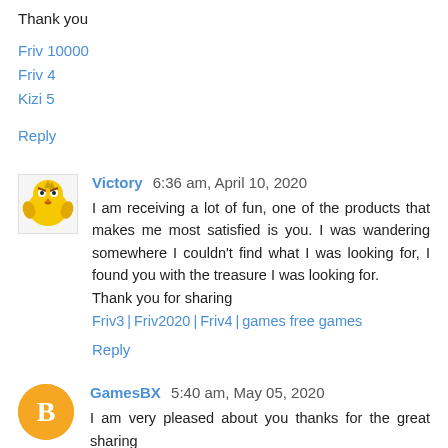Thank you
Friv 10000
Friv 4
Kizi 5
Reply
Victory  6:36 am, April 10, 2020
I am receiving a lot of fun, one of the products that makes me most satisfied is you. I was wandering somewhere I couldn't find what I was looking for, I found you with the treasure I was looking for.
Thank you for sharing
Friv3 | Friv2020 | Friv4 | games free games
Reply
GamesBX  5:40 am, May 05, 2020
I am very pleased about you thanks for the great sharing
Krunker | Sither io Games | Moomoo.io